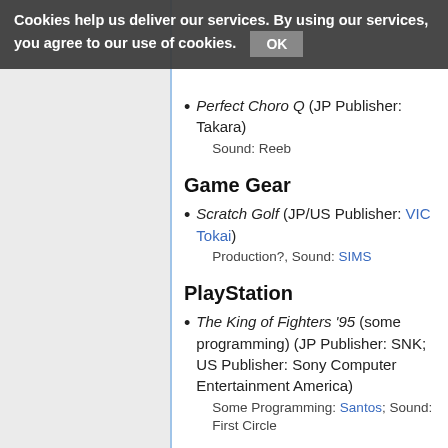Cookies help us deliver our services. By using our services, you agree to our use of cookies. OK
Perfect Choro Q (JP Publisher: Takara)
Sound: Reeb
Game Gear
Scratch Golf (JP/US Publisher: VIC Tokai)
Production?, Sound: SIMS
PlayStation
The King of Fighters '95 (some programming) (JP Publisher: SNK; US Publisher: Sony Computer Entertainment America)
Some Programming: Santos; Sound: First Circle
Puzzle Arena Toshinden (JP Publisher: Takara)